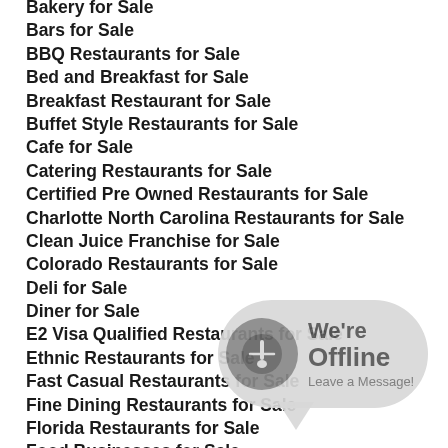Bakery for Sale
Bars for Sale
BBQ Restaurants for Sale
Bed and Breakfast for Sale
Breakfast Restaurant for Sale
Buffet Style Restaurants for Sale
Cafe for Sale
Catering Restaurants for Sale
Certified Pre Owned Restaurants for Sale
Charlotte North Carolina Restaurants for Sale
Clean Juice Franchise for Sale
Colorado Restaurants for Sale
Deli for Sale
Diner for Sale
E2 Visa Qualified Restaurants for Sale
Ethnic Restaurants for Sale
Fast Casual Restaurants for Sale
Fine Dining Restaurants for Sale
Florida Restaurants for Sale
Food Businesses for Sale
Franchise Resales Guide
Food Truck For Sale
Franchises for Sale
[Figure (infographic): We're Offline - Leave a Message chat bubble widget with fork/knife icon]